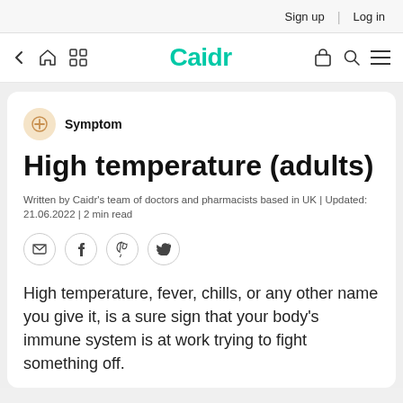Sign up | Log in
Caidr
Symptom
High temperature (adults)
Written by Caidr's team of doctors and pharmacists based in UK | Updated: 21.06.2022 | 2 min read
High temperature, fever, chills, or any other name you give it, is a sure sign that your body's immune system is at work trying to fight something off.